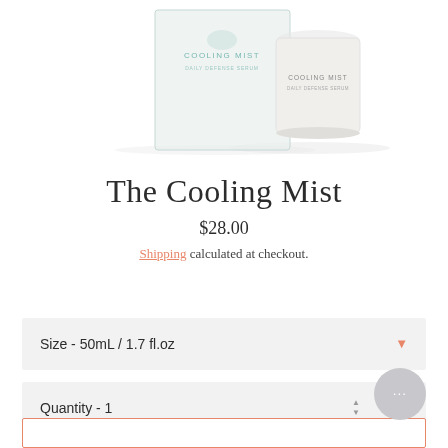[Figure (photo): Product photo of The Cooling Mist skincare product showing a white box packaging and a small glass/white jar on a white background]
The Cooling Mist
$28.00
Shipping calculated at checkout.
Size  -  50mL / 1.7 fl.oz
Quantity  -  1